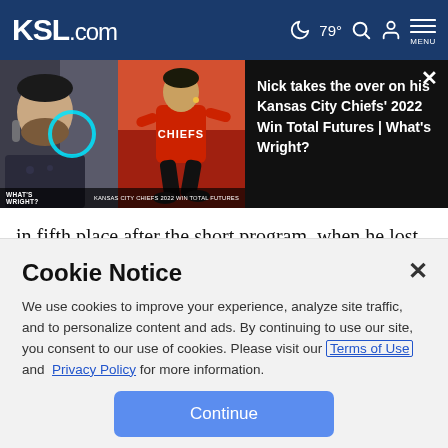KSL.com  79°  MENU
[Figure (screenshot): Video thumbnail showing Nick on left with microphone and Patrick Mahomes in red Chiefs jersey on right, with overlay text 'Nick takes the over on his Kansas City Chiefs' 2022 Win Total Futures | What's Wright?']
in fifth place after the short program, when he lost out on points for spins that were too short.
On Sunday, he was both technically sharp and lyrically
Cookie Notice
We use cookies to improve your experience, analyze site traffic, and to personalize content and ads. By continuing to use our site, you consent to our use of cookies. Please visit our Terms of Use and  Privacy Policy for more information.
Continue